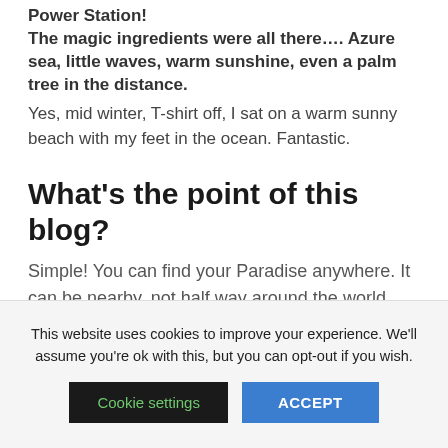Power Station!
The magic ingredients were all there…. Azure sea, little waves, warm sunshine, even a palm tree in the distance.
Yes, mid winter, T-shirt off, I sat on a warm sunny beach with my feet in the ocean. Fantastic.
What's the point of this blog?
Simple! You can find your Paradise anywhere. It can be nearby, not half way around the world.
This website uses cookies to improve your experience. We'll assume you're ok with this, but you can opt-out if you wish.